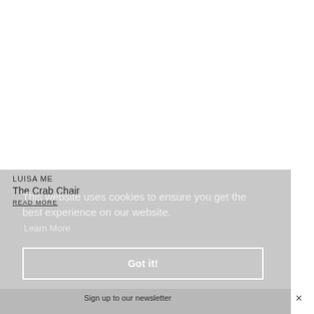[Figure (photo): White area representing an image of a product (Crab Chair) — upper portion of page is blank/white]
LUISA ME
The Crab Chair
READ MORE
This website uses cookies to ensure you get the best experience on our website.
Learn More
Got it!
Sign up to our newsletter